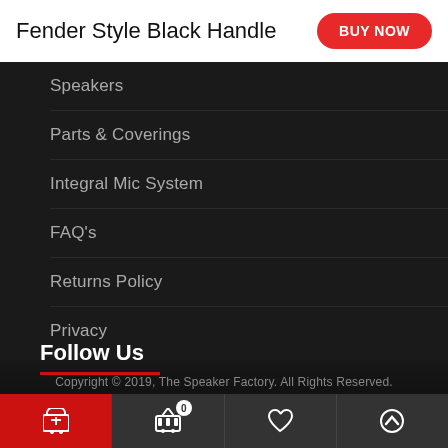Fender Style Black Handle
Speakers
Parts & Coverings
Integral Mic System
FAQ's
Returns Policy
Privacy
Copyright © 2019, The Speaker Factory. All Rights Reserved.
Follow Us
[Figure (other): Social media icons row: Twitter, Facebook, YouTube, Behance, GitHub]
Bottom action bar with cart, basket (0), heart, and up arrow icons